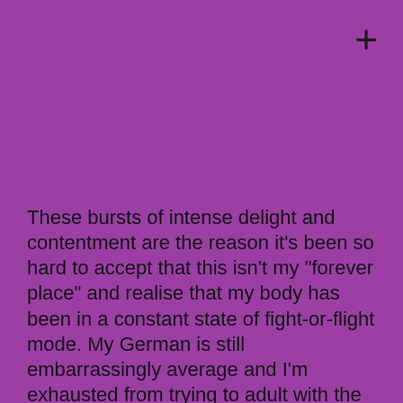[Figure (other): Plus sign symbol in top right corner on purple background]
These bursts of intense delight and contentment are the reason it’s been so hard to accept that this isn’t my “forever place” and realise that my body has been in a constant state of fight-or-flight mode. My German is still embarrassingly average and I’m exhausted from trying to adult with the added layer of language-barrier anxiety.
“Just get a German boyfriend,” says every man, dog and open relationship. Despite the annoying assumption that this would solve the problems, there are fewer things so surely...